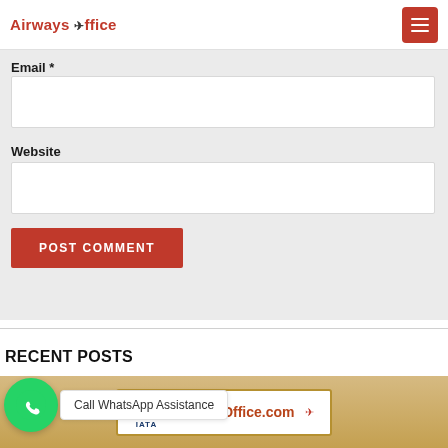Airways Office
Email *
Website
POST COMMENT
RECENT POSTS
Call WhatsApp Assistance
[Figure (screenshot): AirwaysOffice.com sign with IATA logo]